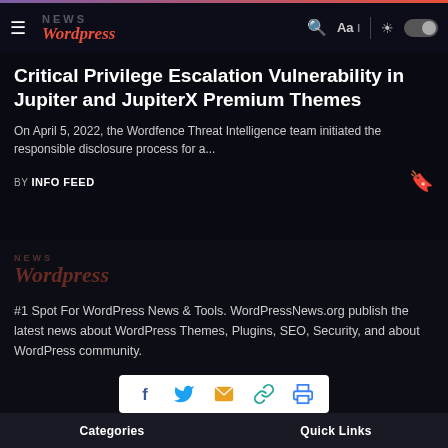NEWS Wordpress
Critical Privilege Escalation Vulnerability in Jupiter and JupiterX Premium Themes
On April 5, 2022, the Wordfence Threat Intelligence team initiated the responsible disclosure process for a...
BY INFO FEED
[Figure (logo): NEWS Wordpress logo watermark in footer area]
#1 Spot For WordPress News & Tools. WordPressNews.org publish the latest news about WordPress Themes, Plugins, SEO, Security, and about WordPress community.
[Figure (infographic): Social share buttons: Facebook, Twitter, Email, Link, Print]
Categories    Quick Links